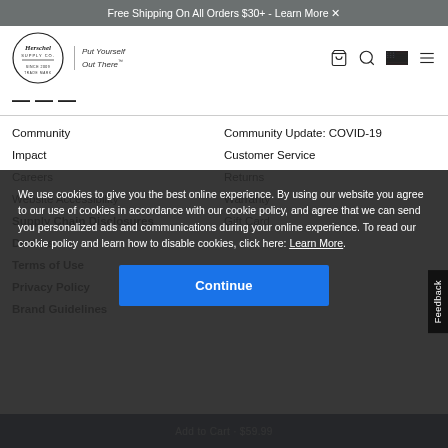Free Shipping On All Orders $30+ - Learn More
[Figure (logo): Herschel Supply Co. logo with tagline 'Put Yourself Out There']
Community
Community Update: COVID-19
Impact
Customer Service
Careers
Returns
Website Accessibility
Warranty
Supply Chain Disclosures
Gift Card
Dealers
Terms of Use
Privacy Policy
Brand Guidelines
We use cookies to give you the best online experience. By using our website you agree to our use of cookies in accordance with our cookie policy, and agree that we can send you personalized ads and communications during your online experience. To read our cookie policy and learn how to disable cookies, click here: Learn More
Continue
Add to Cart · $59.99